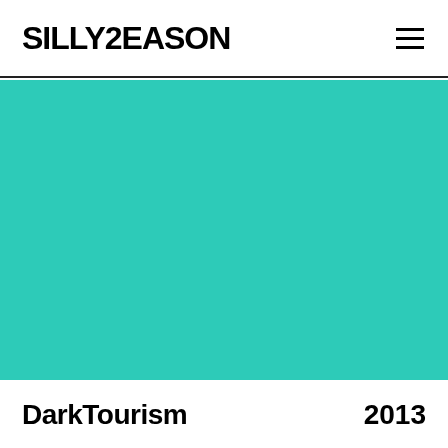SILLY2EASON
[Figure (illustration): Solid teal/turquoise colored rectangle serving as hero image placeholder]
DarkTourism
2013